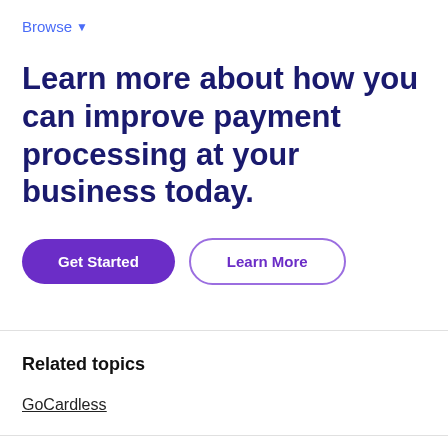Browse ▾
Learn more about how you can improve payment processing at your business today.
Get Started | Learn More
Related topics
GoCardless